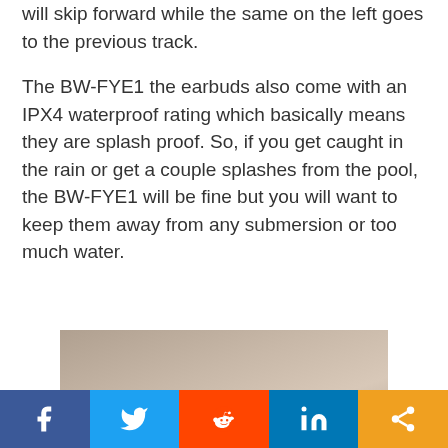will skip forward while the same on the left goes to the previous track.
The BW-FYE1 the earbuds also come with an IPX4 waterproof rating which basically means they are splash proof. So, if you get caught in the rain or get a couple splashes from the pool, the BW-FYE1 will be fine but you will want to keep them away from any submersion or too much water.
[Figure (photo): Photo of earbuds on a surface, partially visible at the bottom of the page]
[Figure (infographic): Social media share bar with Facebook, Twitter, Reddit, LinkedIn, and share buttons]